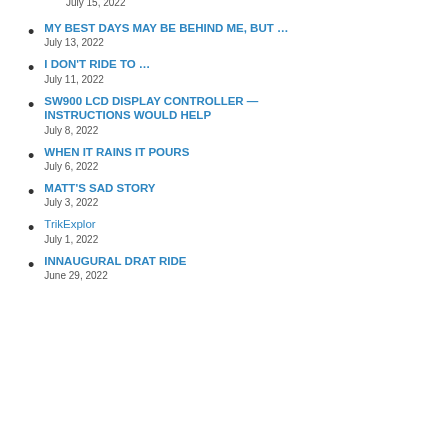July 15, 2022
MY BEST DAYS MAY BE BEHIND ME, BUT …
July 13, 2022
I DON'T RIDE TO …
July 11, 2022
SW900 LCD DISPLAY CONTROLLER — INSTRUCTIONS WOULD HELP
July 8, 2022
WHEN IT RAINS IT POURS
July 6, 2022
MATT'S SAD STORY
July 3, 2022
TrikExplor
July 1, 2022
INNAUGURAL DRAT RIDE
June 29, 2022